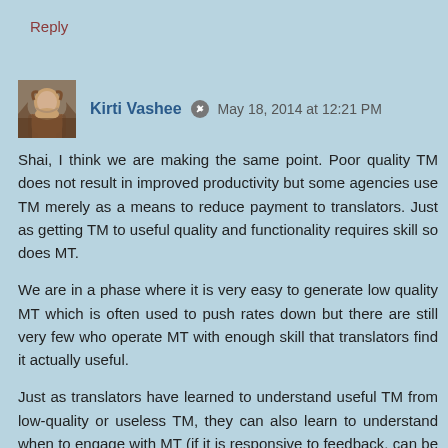Reply
Kirti Vashee ✏ May 18, 2014 at 12:21 PM
Shai, I think we are making the same point. Poor quality TM does not result in improved productivity but some agencies use TM merely as a means to reduce payment to translators. Just as getting TM to useful quality and functionality requires skill so does MT.
We are in a phase where it is very easy to generate low quality MT which is often used to push rates down but there are still very few who operate MT with enough skill that translators find it actually useful.
Just as translators have learned to understand useful TM from low-quality or useless TM, they can also learn to understand when to engage with MT (if it is responsive to feedback, can be steered by feedback etc..) and when not to e.g. when a low rate is offered for editing and the MT quality is very poor. Low rates are not a problem if the MT output quality actually does enhance individual translator...